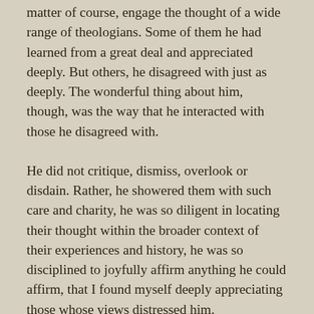matter of course, engage the thought of a wide range of theologians. Some of them he had learned from a great deal and appreciated deeply. But others, he disagreed with just as deeply. The wonderful thing about him, though, was the way that he interacted with those he disagreed with.
He did not critique, dismiss, overlook or disdain. Rather, he showered them with such care and charity, he was so diligent in locating their thought within the broader context of their experiences and history, he was so disciplined to joyfully affirm anything he could affirm, that I found myself deeply appreciating those whose views distressed him.
When Prof. Migliore turned his attention to critique (for